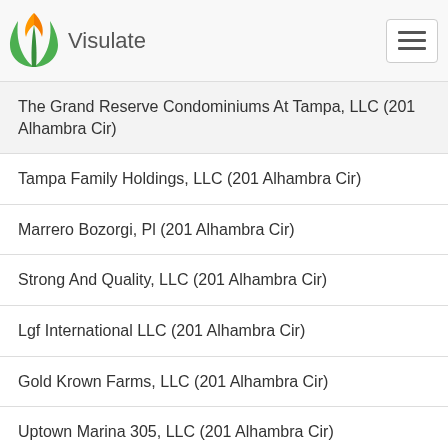Visulate
The Grand Reserve Condominiums At Tampa, LLC (201 Alhambra Cir)
Tampa Family Holdings, LLC (201 Alhambra Cir)
Marrero Bozorgi, Pl (201 Alhambra Cir)
Strong And Quality, LLC (201 Alhambra Cir)
Lgf International LLC (201 Alhambra Cir)
Gold Krown Farms, LLC (201 Alhambra Cir)
Uptown Marina 305, LLC (201 Alhambra Cir)
Uptown Marina 801, LLC (201 Alhambra Cir)
Uptown Marina 1103, LLC (201 Alhambra Cir)
Negus Iii, LLC, (201 Alhambra Cir)